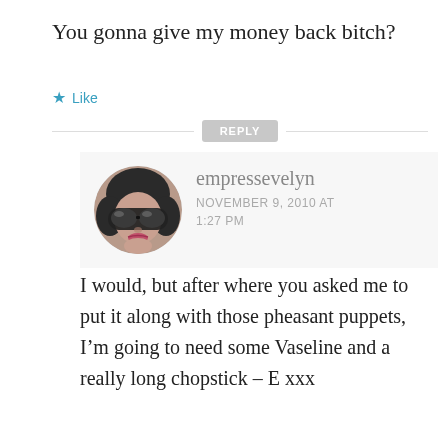You gonna give my money back bitch?
Like
REPLY
[Figure (photo): Circular avatar photo of a woman with short dark hair, large sunglasses, and pink lipstick]
empressevelyn
NOVEMBER 9, 2010 AT 1:27 PM
I would, but after where you asked me to put it along with those pheasant puppets, I’m going to need some Vaseline and a really long chopstick – E xxx